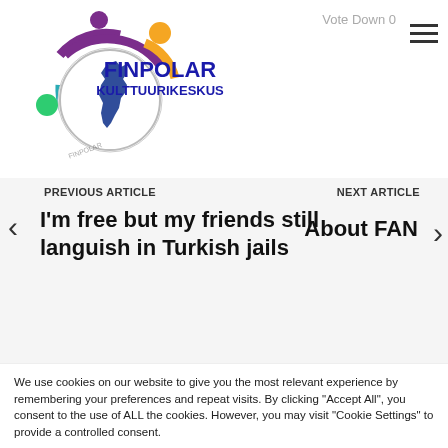[Figure (logo): Finpolar Kulttuurikeskus logo with colorful circular design and Finland map silhouette]
FINPOLAR KULTTUURIKESKUS
Vote Down 0
PREVIOUS ARTICLE
‹ I'm free but my friends still languish in Turkish jails
NEXT ARTICLE
About FAN ›
We use cookies on our website to give you the most relevant experience by remembering your preferences and repeat visits. By clicking "Accept All", you consent to the use of ALL the cookies. However, you may visit "Cookie Settings" to provide a controlled consent.
Cookie Settings
Accept All